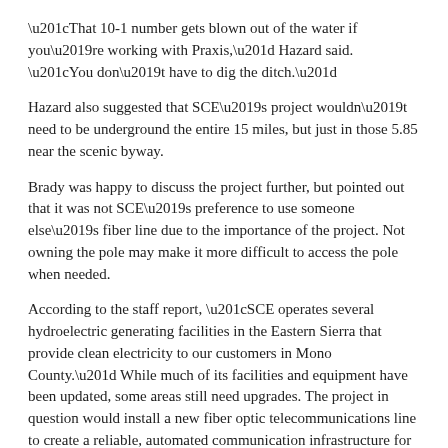“That 10-1 number gets blown out of the water if you’re working with Praxis,” Hazard said. “You don’t have to dig the ditch.”
Hazard also suggested that SCE’s project wouldn’t need to be underground the entire 15 miles, but just in those 5.85 near the scenic byway.
Brady was happy to discuss the project further, but pointed out that it was not SCE’s preference to use someone else’s fiber line due to the importance of the project. Not owning the pole may make it more difficult to access the pole when needed.
According to the staff report, “SCE operates several hydroelectric generating facilities in the Eastern Sierra that provide clean electricity to our customers in Mono County.” While much of its facilities and equipment have been updated, some areas still need upgrades. The project in question would install a new fiber optic telecommunications line to create a reliable, automated communication infrastructure for dam surveillance and an early warning system in case of dam failure. The project would also increase the reliability of the telecommunications system necessary to control and monitor the Rush Creek Dam.